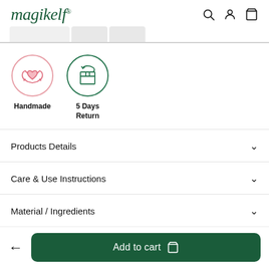magikelf®
[Figure (screenshot): Tab bar with two partially visible tabs]
[Figure (infographic): Two product badges: a pink circle with handmade hands icon labeled 'Handmade', and a green circle with return/box icon labeled '5 Days Return']
Products Details
Care & Use Instructions
Material / Ingredients
Add to cart